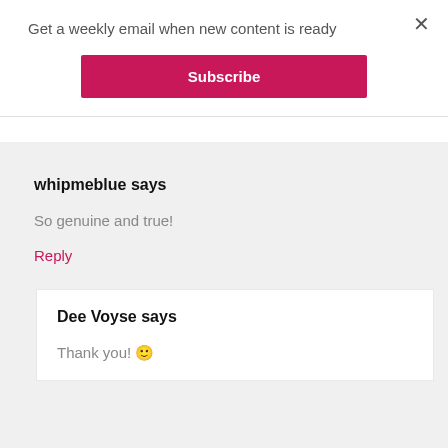Get a weekly email when new content is ready
Subscribe
whipmeblue says
So genuine and true!
Reply
Dee Voyse says
Thank you! 🙂